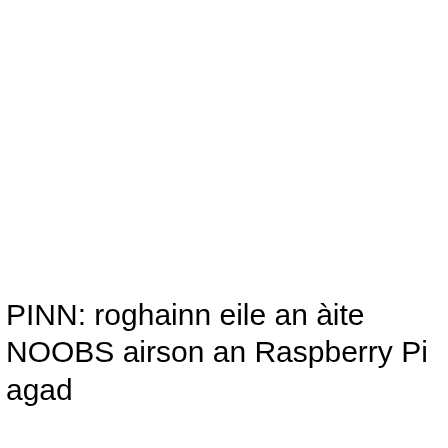PINN: roghainn eile an àite NOOBS airson an Raspberry Pi agad